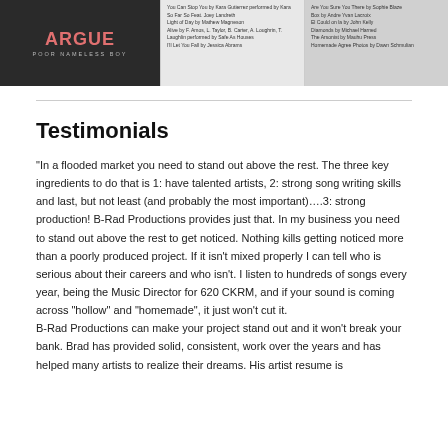[Figure (photo): Album cover for 'Argue' by Poor Nameless Boy, dark background with stylized text]
You Can Stop You by Kara Gutierrez performed by Kara
So Far So Feat. Joey Landreth
Light of Day by Mathew Magneson
Alive by F. Amos, L. Taylor, B. Carter, A. Loughrin, T.
Laughlin performed by Safe As Houses
I'll Let You Fall by Jessica Abrams
Are You Sure You There by Sophie Blaze
Box by Andre Yvan Lacroix
El Could on la by John Kelly
Diamonds by Michael Harned
The Arsonist by Mauhu Press
Homemade Agree Photos by Dawn Schmulian
Testimonials
“In a flooded market you need to stand out above the rest. The three key ingredients to do that is 1: have talented artists, 2: strong song writing skills and last, but not least (and probably the most important)….3: strong production! B-Rad Productions provides just that. In my business you need to stand out above the rest to get noticed. Nothing kills getting noticed more than a poorly produced project. If it isn’t mixed properly I can tell who is serious about their careers and who isn’t. I listen to hundreds of songs every year, being the Music Director for 620 CKRM, and if your sound is coming across “hollow” and “homemade”, it just won’t cut it.
B-Rad Productions can make your project stand out and it won’t break your bank. Brad has provided solid, consistent, work over the years and has helped many artists to realize their dreams. His artist resume is